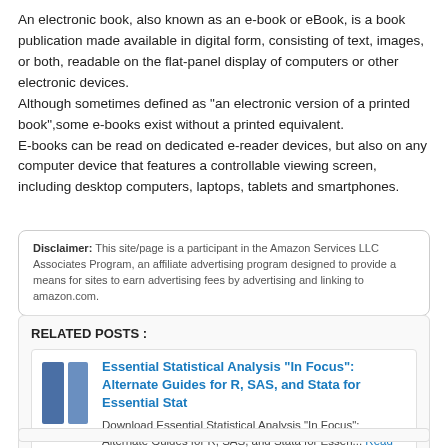An electronic book, also known as an e-book or eBook, is a book publication made available in digital form, consisting of text, images, or both, readable on the flat-panel display of computers or other electronic devices.
Although sometimes defined as "an electronic version of a printed book",some e-books exist without a printed equivalent.
E-books can be read on dedicated e-reader devices, but also on any computer device that features a controllable viewing screen, including desktop computers, laptops, tablets and smartphones.
Disclaimer: This site/page is a participant in the Amazon Services LLC Associates Program, an affiliate advertising program designed to provide a means for sites to earn advertising fees by advertising and linking to amazon.com.
RELATED POSTS :
Essential Statistical Analysis "In Focus": Alternate Guides for R, SAS, and Stata for Essential Stat
Download Essential Statistical Analysis "In Focus": Alternate Guides for R, SAS, and Stata for Essen... Read More...